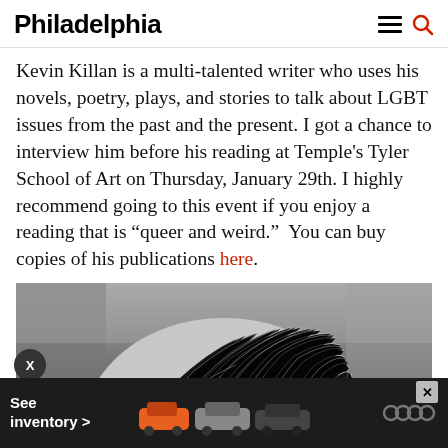Philadelphia
Kevin Killan is a multi-talented writer who uses his novels, poetry, plays, and stories to talk about LGBT issues from the past and the present. I got a chance to interview him before his reading at Temple's Tyler School of Art on Thursday, January 29th. I highly recommend going to this event if you enjoy a reading that is “queer and weird.”  You can buy copies of his publications here.
[Figure (photo): Black and white close-up photo of a person's head with white/grey hair, viewed from behind/above, with blurred background]
[Figure (other): Advertisement banner for Audi showing cars with text 'See inventory >' and Audi four-rings logo]